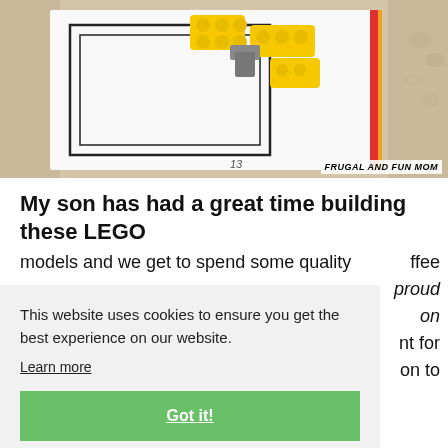[Figure (photo): Close-up photo of yellow LEGO bricks arranged on a white instruction sheet on a beige knitted surface. A watermark reads 'FRUGAL AND FUN MOM' and the number '13' appears on the instruction sheet.]
My son has had a great time building these LEGO models and we get to spend some quality coffee time together. He has been very proud of his models and these make great fun on a rainy day. It is a great gift for any LEGO lover! Click on to
This website uses cookies to ensure you get the best experience on our website. Learn more
Got it!
Do you have a LEGO Builder in your home?